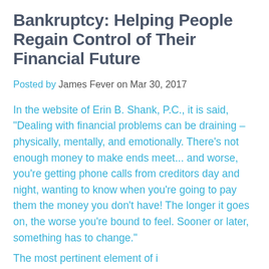Bankruptcy: Helping People Regain Control of Their Financial Future
Posted by James Fever on Mar 30, 2017
In the website of Erin B. Shank, P.C., it is said, "Dealing with financial problems can be draining – physically, mentally, and emotionally. There's not enough money to make ends meet... and worse, you're getting phone calls from creditors day and night, wanting to know when you're going to pay them the money you don't have! The longer it goes on, the worse you're bound to feel. Sooner or later, something has to change."
The most pertinent element of i...